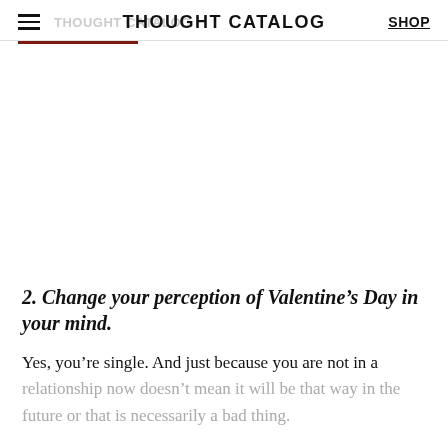THOUGHT CATALOG | SHOP
2. Change your perception of Valentine's Day in your mind.
Yes, you're single. And just because you are not in a relationship now doesn't mean it will be that way in the future or that is necessarily a bad thing.